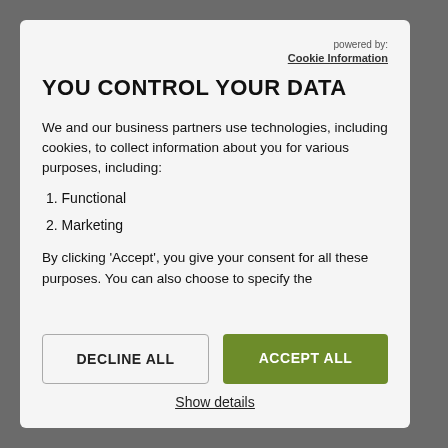powered by: Cookie Information
YOU CONTROL YOUR DATA
We and our business partners use technologies, including cookies, to collect information about you for various purposes, including:
1. Functional
2. Marketing
By clicking 'Accept', you give your consent for all these purposes. You can also choose to specify the
DECLINE ALL
ACCEPT ALL
Show details